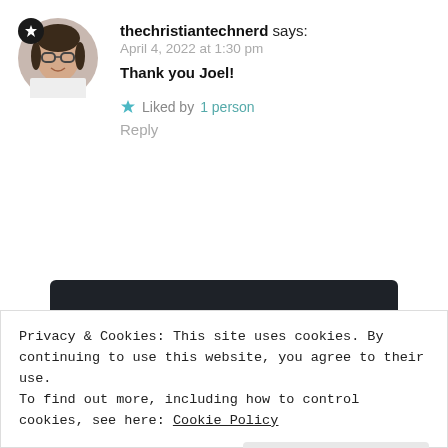[Figure (photo): Circular avatar photo of a woman with glasses and dark hair]
thechristiantechnerd says:
April 4, 2022 at 1:30 pm
Thank you Joel!
★ Liked by 1 person
Reply
[Figure (screenshot): Dark banner with a teal 'Learn More' pill button]
Privacy & Cookies: This site uses cookies. By continuing to use this website, you agree to their use.
To find out more, including how to control cookies, see here: Cookie Policy
Close and accept